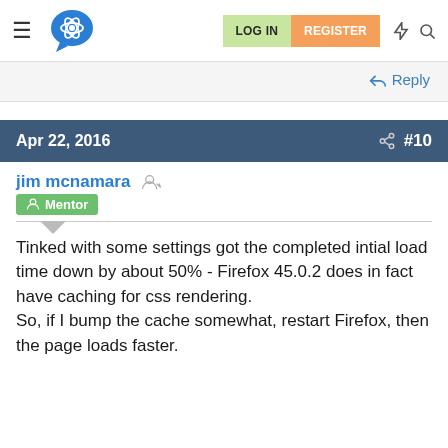LOG IN | REGISTER
Reply
Apr 22, 2016  #10
jim mcnamara  Mentor
Tinked with some settings got the completed intial load time down by about 50% - Firefox 45.0.2 does in fact have caching for css rendering.
So, if I bump the cache somewhat, restart Firefox, then the page loads faster.